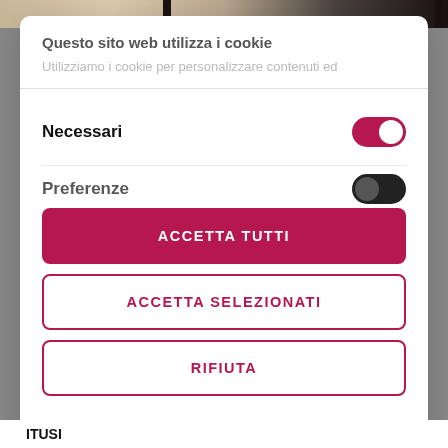[Figure (screenshot): Top portion of a webpage showing a background image (appears to be a food/restaurant scene) partially visible behind a cookie consent dialog.]
Questo sito web utilizza i cookie
Utilizziamo i cookie per personalizzare contenuti ed
Necessari
Preferenze
ACCETTA TUTTI
ACCETTA SELEZIONATI
RIFIUTA
Powered by Cookiebot by Usercentrics